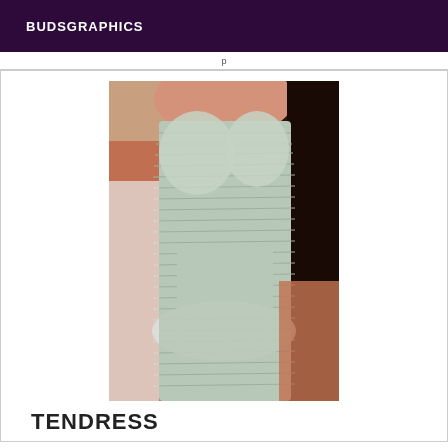BUDSGRAPHICS
[Figure (photo): A person wearing a tight light blue/grey ribbed bandage-style dress, showing torso and hips area.]
TENDRESS